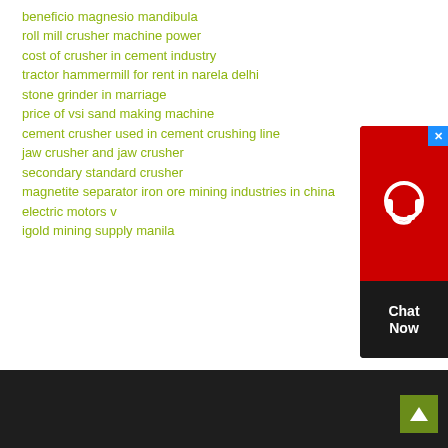beneficio magnesio mandibula
roll mill crusher machine power
cost of crusher in cement industry
tractor hammermill for rent in narela delhi
stone grinder in marriage
price of vsi sand making machine
cement crusher used in cement crushing line
jaw crusher and jaw crusher
secondary standard crusher
magnetite separator iron ore mining industries in china
electric motors v
igold mining supply manila
[Figure (other): Chat Now widget with red background, headset icon, close button, and dark Chat Now text area]
Dark footer bar with back-to-top green arrow button